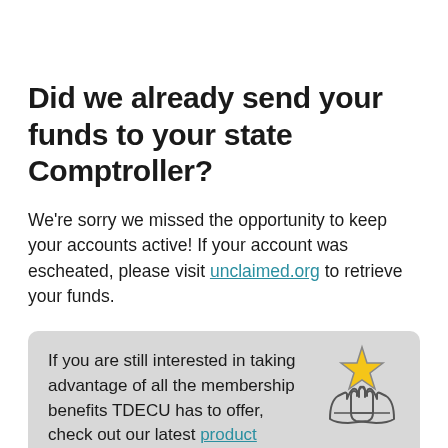Did we already send your funds to your state Comptroller?
We're sorry we missed the opportunity to keep your accounts active! If your account was escheated, please visit unclaimed.org to retrieve your funds.
If you are still interested in taking advantage of all the membership benefits TDECU has to offer, check out our latest product offerings and rates. You're
[Figure (illustration): Icon of two hands holding up a star, outline style with a yellow star on top]